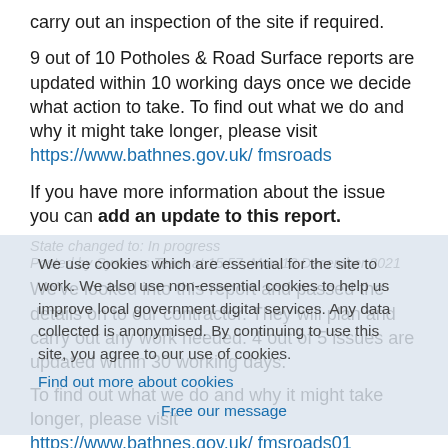carry out an inspection of the site if required.
9 out of 10 Potholes & Road Surface reports are updated within 10 working days once we decide what action to take. To find out what we do and why it might take longer, please visit https://www.bathnes.gov.uk/ fmsroads
If you have more information about the issue you can add an update to this report.
State changed to: In progress
Posted by Systems Team at 15:57, Mon 13 December 2021
We use cookies which are essential for the site to work. We also use non-essential cookies to help us improve local government digital services. Any data collected is anonymised. By continuing to use this site, you agree to our use of cookies.
Find out more about cookies
We've looked into this report and passed the details on to our contractor. They will plan and carry out any work needed. 4 out of 5 issues are updated within 30 working days.
To find out what we do and why it might take longer, please visit https://www.bathnes.gov.uk/ fmsroads01
We'll update this report when the contractor has